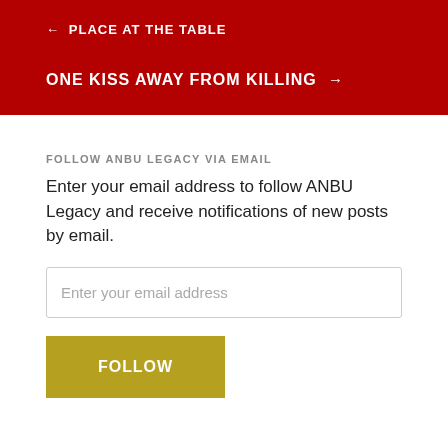← PLACE AT THE TABLE
ONE KISS AWAY FROM KILLING →
FOLLOW ANBU LEGACY VIA EMAIL
Enter your email address to follow ANBU Legacy and receive notifications of new posts by email.
Enter your email address
FOLLOW